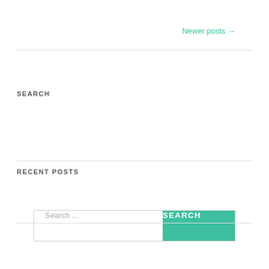Newer posts →
SEARCH
[Figure (screenshot): Search input box with placeholder 'Search ...' and a teal SEARCH button]
RECENT POSTS
Consciousness and AI
Risks of AI. Data protection.